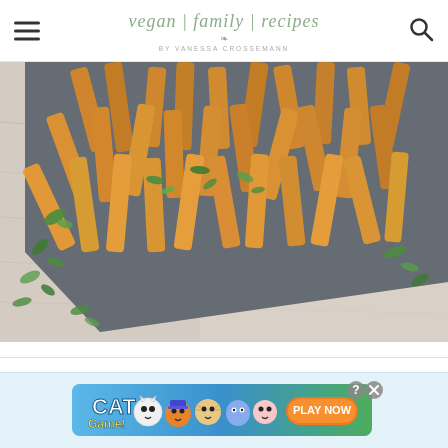vegan | family | recipes BY VANESSA CROSSEMANN
[Figure (photo): Overhead photo of spiced/curried potato fries on a dark slate board, garnished with fresh cilantro/parsley, placed on a whitewashed wooden surface]
[Figure (screenshot): Cat Game mobile game advertisement banner with colorful cartoon cat characters and 'PLAY NOW' button on orange background, with close and help buttons]